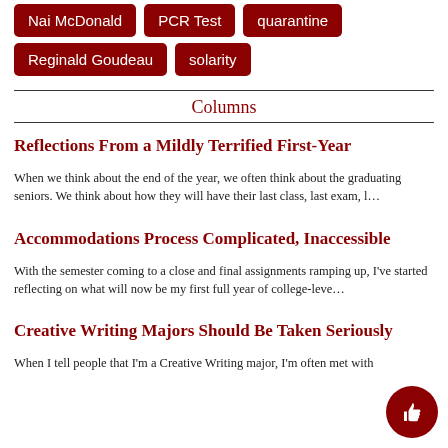Nai McDonald
PCR Test
quarantine
Reginald Goudeau
solarity
Columns
Reflections From a Mildly Terrified First-Year
When we think about the end of the year, we often think about the graduating seniors. We think about how they will have their last class, last exam, l…
Accommodations Process Complicated, Inaccessible
With the semester coming to a close and final assignments ramping up, I've started reflecting on what will now be my first full year of college-leve…
Creative Writing Majors Should Be Taken Seriously
When I tell people that I'm a Creative Writing major, I'm often met with